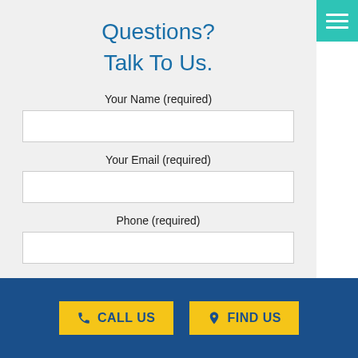Questions?
Talk To Us.
Your Name (required)
Your Email (required)
Phone (required)
CALL US
FIND US